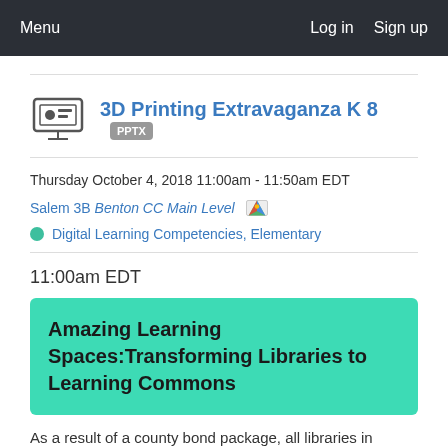Menu  Log in  Sign up
3D Printing Extravaganza K 8  PPTX
Thursday October 4, 2018 11:00am - 11:50am EDT
Salem 3B Benton CC Main Level
Digital Learning Competencies, Elementary
11:00am EDT
Amazing Learning Spaces:Transforming Libraries to Learning Commons
As a result of a county bond package, all libraries in